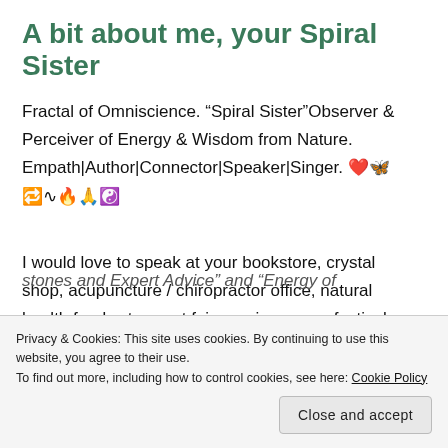A bit about me, your Spiral Sister
Fractal of Omniscience. “Spiral Sister”Observer & Perceiver of Energy & Wisdom from Nature. Empath|Author|Connector|Speaker|Singer. ❤️🦋 🔁∿🔥🙏☯
I would love to speak at your bookstore, crystal shop, acupuncture / chiropractor office, natural health foods store, art fair, music or yoga festival
stones and Expert Advice” and “Energy of
Privacy & Cookies: This site uses cookies. By continuing to use this website, you agree to their use.
To find out more, including how to control cookies, see here: Cookie Policy
Close and accept